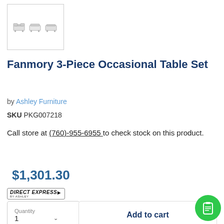[Figure (photo): Thumbnail image of Fanmory 3-Piece Occasional Table Set showing three furniture pieces]
Fanmory 3-Piece Occasional Table Set
by Ashley Furniture
SKU PKG007218
Call store at (760)-955-6955 to check stock on this product.
$1,301.30
[Figure (logo): Direct Express by Ashley logo badge]
Quantity 1
Add to cart